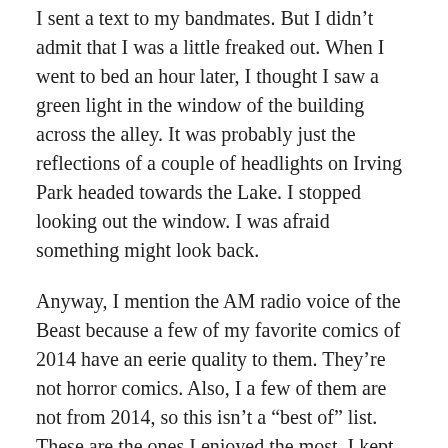I sent a text to my bandmates. But I didn't admit that I was a little freaked out. When I went to bed an hour later, I thought I saw a green light in the window of the building across the alley. It was probably just the reflections of a couple of headlights on Irving Park headed towards the Lake. I stopped looking out the window. I was afraid something might look back.
Anyway, I mention the AM radio voice of the Beast because a few of my favorite comics of 2014 have an eerie quality to them. They're not horror comics. Also, I a few of them are not from 2014, so this isn't a “best of” list. These are the ones I enjoyed the most. I kept them in a stack on my desk all year so that I’d remember to write about them in December. I hope you read them, too, and I highly recommend that if you play guitar, you do so only in daylight, when the Beast and his DJ are less likely